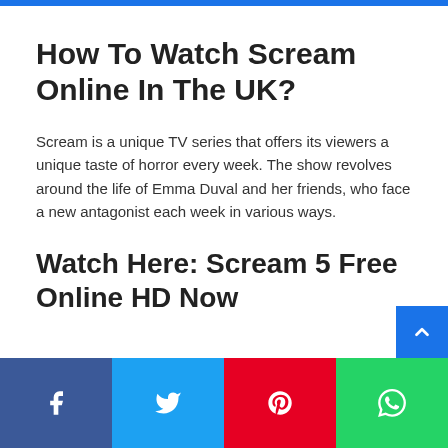How To Watch Scream Online In The UK?
Scream is a unique TV series that offers its viewers a unique taste of horror every week. The show revolves around the life of Emma Duval and her friends, who face a new antagonist each week in various ways.
Watch Here: Scream 5 Free Online HD Now